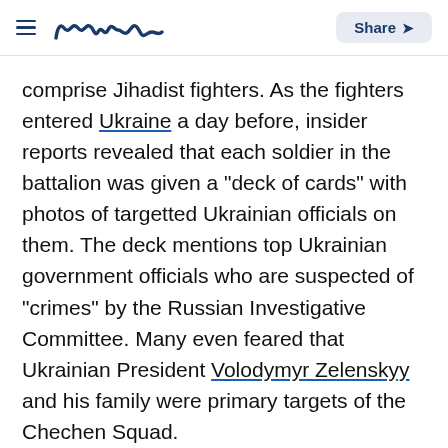Meaww — Share
comprise Jihadist fighters. As the fighters entered Ukraine a day before, insider reports revealed that each soldier in the battalion was given a "deck of cards" with photos of targetted Ukrainian officials on them. The deck mentions top Ukrainian government officials who are suspected of "crimes" by the Russian Investigative Committee. Many even feared that Ukrainian President Volodymyr Zelenskyy and his family were primary targets of the Chechen Squad.
ADVERTISEMENT